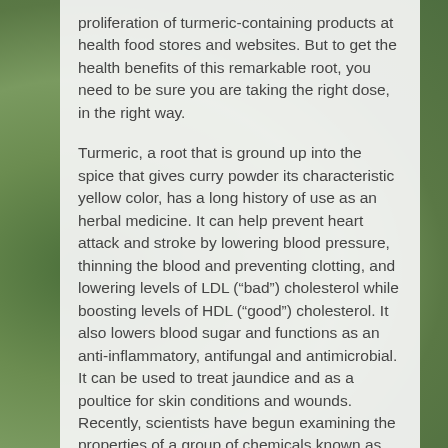proliferation of turmeric-containing products at health food stores and websites. But to get the health benefits of this remarkable root, you need to be sure you are taking the right dose, in the right way.
Turmeric, a root that is ground up into the spice that gives curry powder its characteristic yellow color, has a long history of use as an herbal medicine. It can help prevent heart attack and stroke by lowering blood pressure, thinning the blood and preventing clotting, and lowering levels of LDL (“bad”) cholesterol while boosting levels of HDL (“good”) cholesterol. It also lowers blood sugar and functions as an anti-inflammatory, antifungal and antimicrobial. It can be used to treat jaundice and as a poultice for skin conditions and wounds. Recently, scientists have begun examining the properties of a group of chemicals known as curcuminoids (or simply “curcumin”), which are